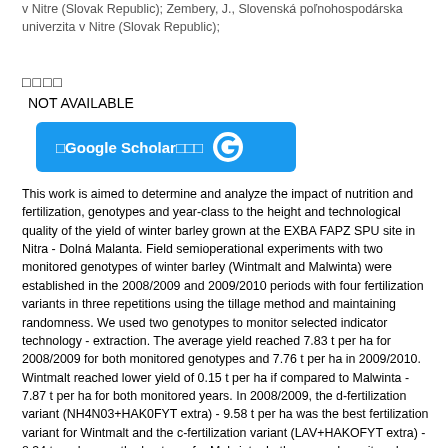v Nitre (Slovak Republic); Zembery, J., Slovenská poľnohospodárska univerzita v Nitre (Slovak Republic);
□□□□
NOT AVAILABLE
[Figure (other): Google Scholar button with G logo in blue]
This work is aimed to determine and analyze the impact of nutrition and fertilization, genotypes and year-class to the height and technological quality of the yield of winter barley grown at the EXBA FAPZ SPU site in Nitra - Dolná Malanta. Field semioperational experiments with two monitored genotypes of winter barley (Wintmalt and Malwinta) were established in the 2008/2009 and 2009/2010 periods with four fertilization variants in three repetitions using the tillage method and maintaining randomness. We used two genotypes to monitor selected indicator technology - extraction. The average yield reached 7.83 t per ha for 2008/2009 for both monitored genotypes and 7.76 t per ha in 2009/2010. Wintmalt reached lower yield of 0.15 t per ha if compared to Malwinta - 7.87 t per ha for both monitored years. In 2008/2009, the d-fertilization variant (NH4N03+HAK0FYT extra) - 9.58 t per ha was the best fertilization variant for Wintmalt and the c-fertilization variant (LAV+HAKOFYT extra) - 8,34 t per ha was the best one for Malwinta. In the second monitored year 2009/2010, the d-fertilization variant - 8,49 t per haseemed to be the best one for Wintmalt and the c-fertilization variant - 8,57 t per ha for the second monitored genotype